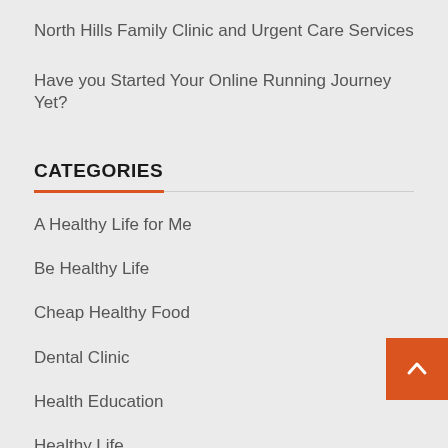North Hills Family Clinic and Urgent Care Services
Have you Started Your Online Running Journey Yet?
CATEGORIES
A Healthy Life for Me
Be Healthy Life
Cheap Healthy Food
Dental Clinic
Health Education
Healthy Life
Healthy News
Inversion Ministry